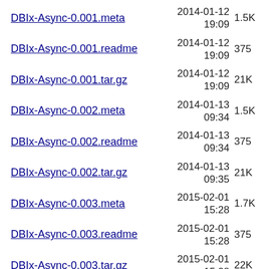DBIx-Async-0.001.meta  2014-01-12 19:09  1.5K
DBIx-Async-0.001.readme  2014-01-12 19:09  375
DBIx-Async-0.001.tar.gz  2014-01-12 19:09  21K
DBIx-Async-0.002.meta  2014-01-13 09:34  1.5K
DBIx-Async-0.002.readme  2014-01-13 09:34  375
DBIx-Async-0.002.tar.gz  2014-01-13 09:35  21K
DBIx-Async-0.003.meta  2015-02-01 15:28  1.7K
DBIx-Async-0.003.readme  2015-02-01 15:28  375
DBIx-Async-0.003.tar.gz  2015-02-01 15:28  22K
Data-Faker-Country-0.001.meta  2019-03-09 19:58  2.6K
Data-Faker-Country-0.001.readme  2019-03-09 19:58  680
2019-03-09